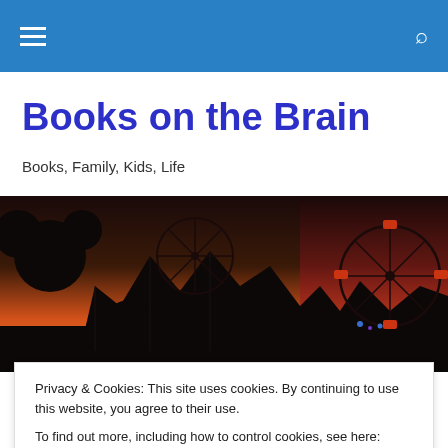Books on the Brain
Books, Family, Kids, Life
[Figure (photo): Twilight silhouette of an amusement park with roller coaster, ferris wheel, and Mickey Mouse ears against a sunset sky]
TAGGED WITH AUDREY NIFFENEGGER
Privacy & Cookies: This site uses cookies. By continuing to use this website, you agree to their use.
To find out more, including how to control cookies, see here: Cookie Policy
Close and accept